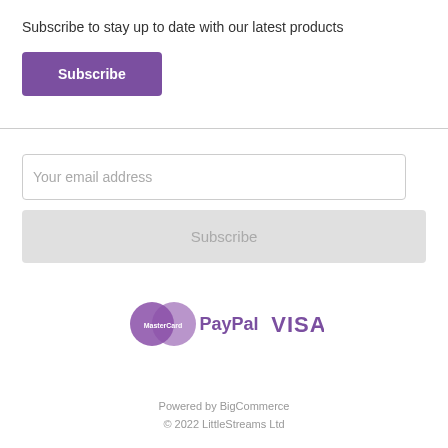Subscribe to stay up to date with our latest products
Subscribe
Your email address
Subscribe
[Figure (logo): Payment logos: MasterCard, PayPal, VISA in purple color scheme]
Powered by BigCommerce
© 2022 LittleStreams Ltd